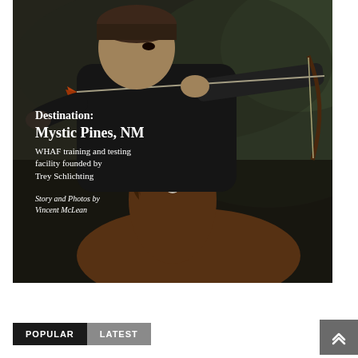[Figure (photo): A man in a black shirt and helmet shooting a bow and arrow while riding a brown horse with paint markings. The arrow has orange fletching. Background is a dark, blurred outdoor setting. Text overlay on the image reads: Destination: Mystic Pines, NM / WHAF training and testing facility founded by Trey Schlichting / Story and Photos by Vincent McLean.]
Destination: Mystic Pines, NM
WHAF training and testing facility founded by Trey Schlichting
Story and Photos by Vincent McLean
POPULAR	LATEST